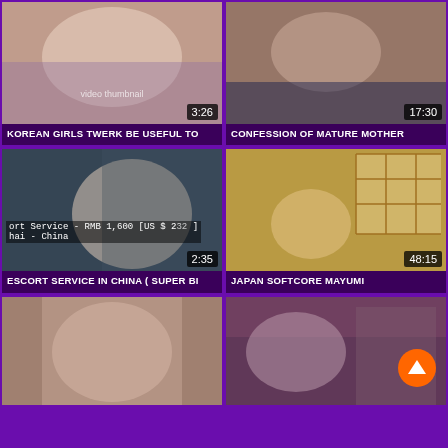[Figure (screenshot): Video thumbnail grid showing 6 video cards in a 2-column layout. Each card has a thumbnail image, duration badge, and title. Top-left: Korean girl video, 3:26. Top-right: mature woman video, 17:30. Middle-left: escort service video with overlay text, 2:35. Middle-right: Japan softcore video, 48:15. Bottom-left: partial thumbnail. Bottom-right: partial thumbnail with orange scroll-to-top button.]
KOREAN GIRLS TWERK BE USEFUL TO
CONFESSION OF MATURE MOTHER
ESCORT SERVICE IN CHINA ( SUPER BI
JAPAN SOFTCORE MAYUMI